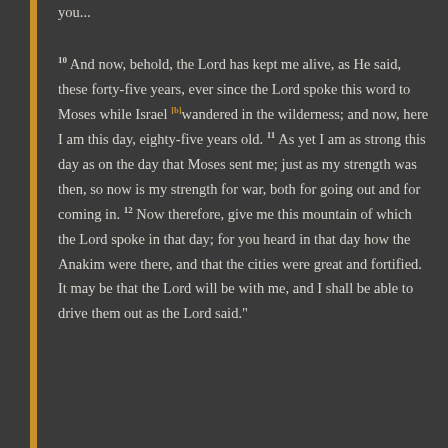10 And now, behold, the Lord has kept me alive, as He said, these forty-five years, ever since the Lord spoke this word to Moses while Israel [b] wandered in the wilderness; and now, here I am this day, eighty-five years old. 11 As yet I am as strong this day as on the day that Moses sent me; just as my strength was then, so now is my strength for war, both for going out and for coming in. 12 Now therefore, give me this mountain of which the Lord spoke in that day; for you heard in that day how the Anakim were there, and that the cities were great and fortified. It may be that the Lord will be with me, and I shall be able to drive them out as the Lord said."